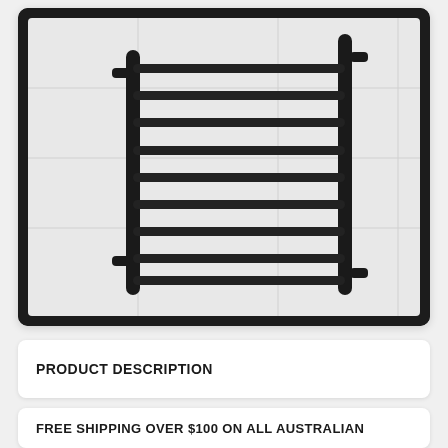[Figure (photo): Black matte heated towel rail/ladder rack mounted on white tiled wall. The rack has two vertical round posts with multiple horizontal bars across, approximately 10 bars visible.]
PRODUCT DESCRIPTION
FREE SHIPPING OVER $100 ON ALL AUSTRALIAN